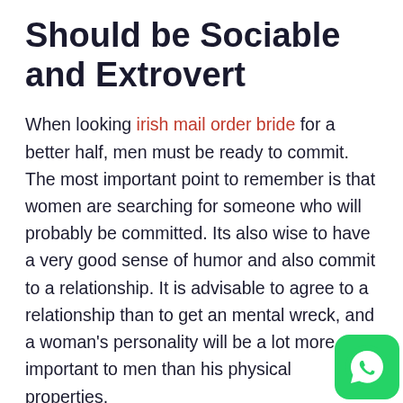Should be Sociable and Extrovert
When looking irish mail order bride for a better half, men must be ready to commit. The most important point to remember is that women are searching for someone who will probably be committed. Its also wise to have a very good sense of humor and also commit to a relationship. It is advisable to agree to a relationship than to get an mental wreck, and a woman's personality will be a lot more important to men than his physical properties.
When looking for a wife, be community and vibrant. If you like business, go to cathedral on Saturday and check out the new place you live. Volunteering and being productive can also assist you to meet the female you are looking. Signing up for organizations and donating to good triggers
[Figure (logo): WhatsApp icon — green rounded square with white phone/chat logo]